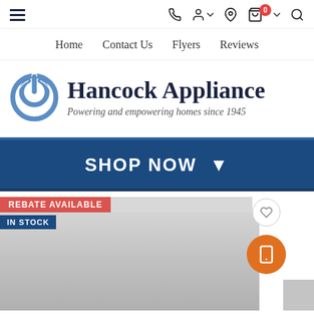[Figure (screenshot): Website top bar with hamburger menu icon and top navigation icons including phone, user, location, cart with badge showing 0, dropdown arrow, and search icon]
Home   Contact Us   Flyers   Reviews
[Figure (logo): Hancock Appliance logo with blue power button icon and text 'Hancock Appliance - Powering and empowering homes since 1945']
SHOP NOW
REBATE AVAILABLE
IN STOCK
[Figure (photo): Partial view of a stainless steel appliance (dishwasher or refrigerator) shown at the bottom of the page with wishlist heart button and orange mobile chat button]